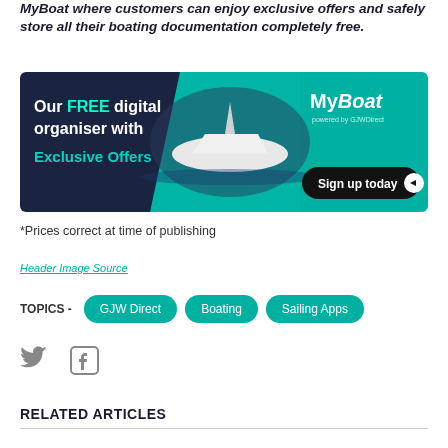MyBoat where customers can enjoy exclusive offers and safely store all their boating documentation completely free.
[Figure (illustration): MyBoat advertisement banner showing a motorboat on water with dark navy left panel and teal right panel. Left panel reads: 'Our FREE digital organiser with Exclusive Offers'. Right panel shows MyBoat logo powered by GJW Direct and a 'Sign up today' button with arrow icon.]
*Prices correct at time of publishing
Header Image Source
TOPICS - GJW Direct  Boating  Sailing Apps
RELATED ARTICLES